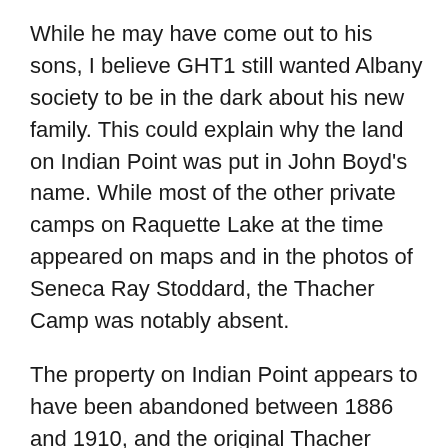While he may have come out to his sons, I believe GHT1 still wanted Albany society to be in the dark about his new family. This could explain why the land on Indian Point was put in John Boyd's name. While most of the other private camps on Raquette Lake at the time appeared on maps and in the photos of Seneca Ray Stoddard, the Thacher Camp was notably absent.
The property on Indian Point appears to have been abandoned between 1886 and 1910, and the original Thacher Camp cabin disappeared without a trace.   At the time of their father's death in 1887, John Boyd established a summer residence in Altamont, NY and George Jr. began to summer in Manchester, Vt. I suspect that they associated the Adirondack camps with Eliza and her family.